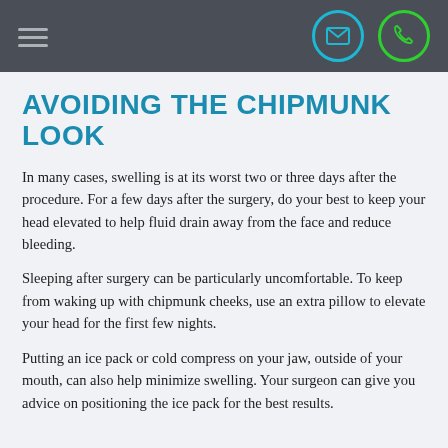Navigation bar with hamburger menu, email icon, and phone icon
AVOIDING THE CHIPMUNK LOOK
In many cases, swelling is at its worst two or three days after the procedure. For a few days after the surgery, do your best to keep your head elevated to help fluid drain away from the face and reduce bleeding.
Sleeping after surgery can be particularly uncomfortable. To keep from waking up with chipmunk cheeks, use an extra pillow to elevate your head for the first few nights.
Putting an ice pack or cold compress on your jaw, outside of your mouth, can also help minimize swelling. Your surgeon can give you advice on positioning the ice pack for the best results.